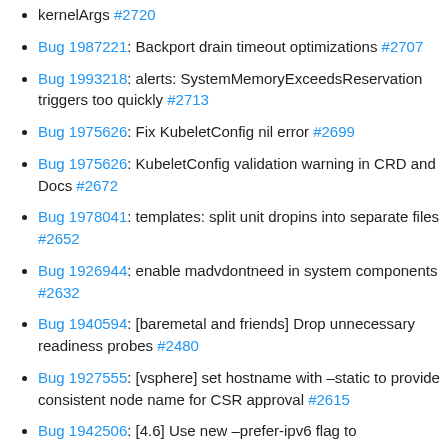kernelArgs #2720
Bug 1987221: Backport drain timeout optimizations #2707
Bug 1993218: alerts: SystemMemoryExceedsReservation triggers too quickly #2713
Bug 1975626: Fix KubeletConfig nil error #2699
Bug 1975626: KubeletConfig validation warning in CRD and Docs #2672
Bug 1978041: templates: split unit dropins into separate files #2652
Bug 1926944: enable madvdontneed in system components #2632
Bug 1940594: [baremetal and friends] Drop unnecessary readiness probes #2480
Bug 1927555: [vsphere] set hostname with –static to provide consistent node name for CSR approval #2615
Bug 1942506: [4.6] Use new –prefer-ipv6 flag to